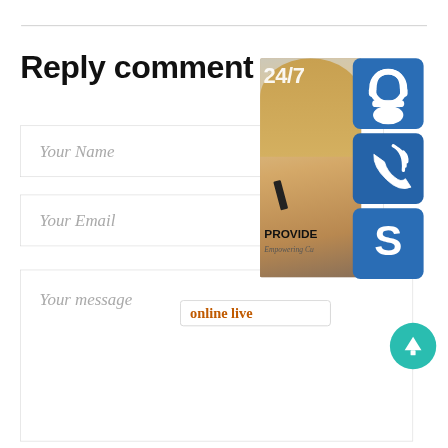Reply comment
Your Name
Your Email
Your message
[Figure (infographic): Customer support overlay with 24/7 badge, photo of woman with headset, service icons (headset, phone, Skype), 'PROVIDE / Empowering Cu...' text, 'online live' banner, and teal scroll-up arrow button.]